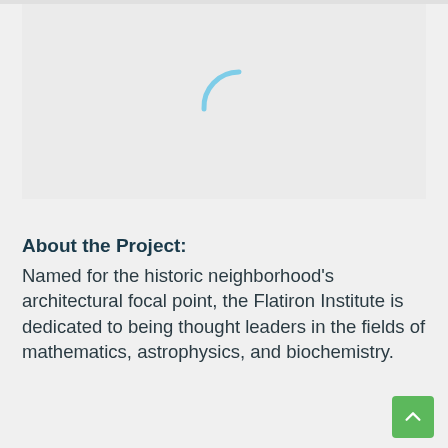[Figure (other): Loading placeholder with light gray background and a blue circular loading spinner arc in the center]
About the Project:
Named for the historic neighborhood's architectural focal point, the Flatiron Institute is dedicated to being thought leaders in the fields of mathematics, astrophysics, and biochemistry.